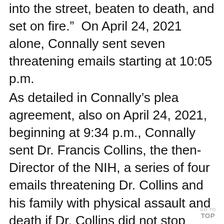into the street, beaten to death, and set on fire."  On April 24, 2021 alone, Connally sent seven threatening emails starting at 10:05 p.m.
As detailed in Connally’s plea agreement, also on April 24, 2021, beginning at 9:34 p.m., Connally sent Dr. Francis Collins, the then-Director of the NIH, a series of four emails threatening Dr. Collins and his family with physical assault and death if Dr. Collins did not stop speaking about the need for “mandatory” COVID-19 vaccinations.
GO TO TOP